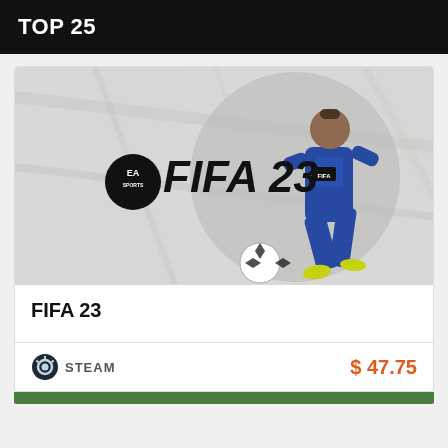TOP 25
[Figure (photo): FIFA 23 game cover art showing a soccer player in blue uniform dribbling a ball, with EA Sports FIFA 23 logo]
FIFA 23
STEAM  $ 47.75